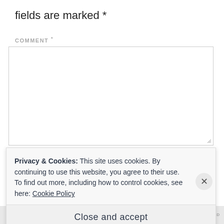fields are marked *
COMMENT *
[Figure (screenshot): Empty comment textarea input box with resize handle in bottom-right corner]
N
[Figure (screenshot): Cookie consent banner overlay reading: 'Privacy & Cookies: This site uses cookies. By continuing to use this website, you agree to their use. To find out more, including how to control cookies, see here: Cookie Policy' with a Close and accept button and an X close button]
[Figure (screenshot): Bottom bar with red and black rectangles and small text reading NRPOST THIS AD]